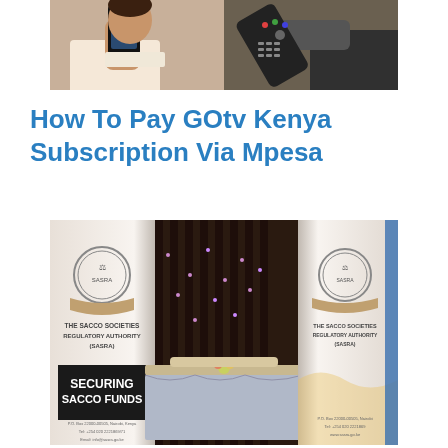[Figure (photo): Two photos side by side: left shows a woman holding a smartphone, right shows a hand holding a TV remote control.]
How To Pay GOtv Kenya Subscription Via Mpesa
[Figure (photo): Photo of a SASRA (Sacco Societies Regulatory Authority) exhibition booth with banners reading 'SECURING SACCO FUNDS' and a draped table with flowers.]